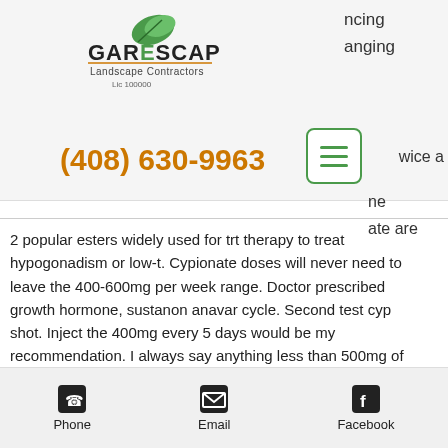[Figure (logo): GareScape Landscape Contractors logo with green leaf and text]
ncing
anging
(408) 630-9963
[Figure (other): Hamburger menu icon button with green border and three green lines]
wice a
ne
ate are
2 popular esters widely used for trt therapy to treat hypogonadism or low-t. Cypionate doses will never need to leave the 400-600mg per week range. Doctor prescribed growth hormone, sustanon anavar cycle. Second test cyp shot. Inject the 400mg every 5 days would be my recommendation. I always say anything less than 500mg of testosterone enanthate or cypionate per
Phone   Email   Facebook